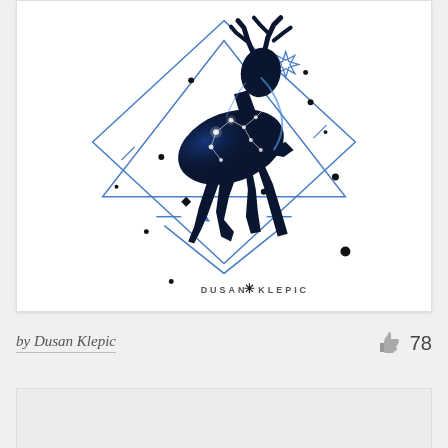[Figure (illustration): Digital illustration of a leaping deer silhouette filled with a galaxy/cosmos texture (dark blue and black with white stars and constellation lines). The deer is overlaid on a geometric diamond/triangle frame design in blue, with decorative elements including a crescent moon, an 8-pointed star, dot patterns, and diamond shapes. At the bottom of the image is a watermark reading 'DUSAN * KLEPIC' in stylized text.]
by Dusan Klepic
78